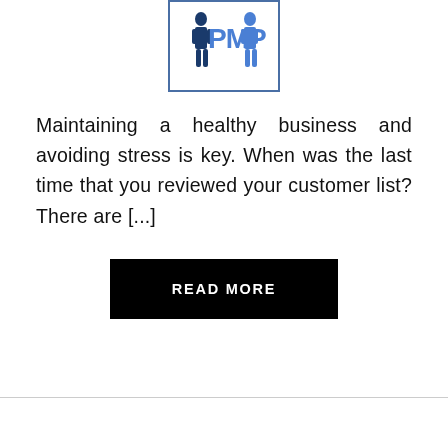[Figure (illustration): Illustration showing two business figures with 'PMP' text in large blue letters, inside a bordered box]
Maintaining a healthy business and avoiding stress is key. When was the last time that you reviewed your customer list? There are [...]
READ MORE